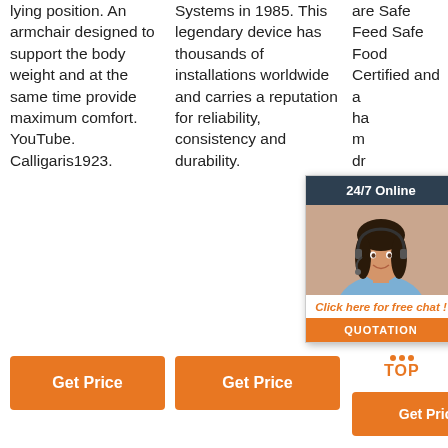lying position. An armchair designed to support the body weight and at the same time provide maximum comfort. YouTube. Calligaris1923.
Systems in 1985. This legendary device has thousands of installations worldwide and carries a reputation for reliability, consistency and durability.
are Safe Feed Safe Food Certified and are have more dry matter large to a few species, we have a small ...
[Figure (other): 24/7 Online chat popup with woman wearing headset, 'Click here for free chat!' text, and orange QUOTATION button]
Get Price
Get Price
Get Price